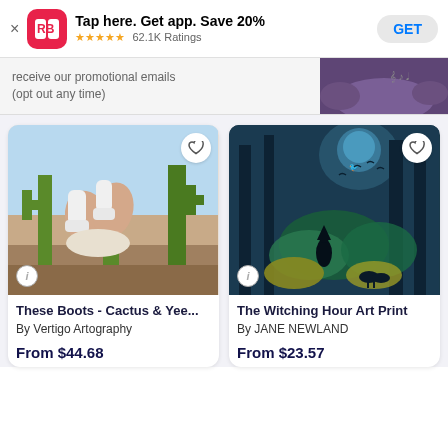[Figure (screenshot): App store banner for Redbubble app: logo, 'Tap here. Get app. Save 20%', 5 stars, 62.1K Ratings, GET button]
receive our promotional emails (opt out any time)
[Figure (illustration): Purple illustrated landscape with figures]
[Figure (photo): Person lying in desert with cowboy boots up, cacti in background]
These Boots - Cactus & Yee...
By Vertigo Artography
From $44.68
[Figure (illustration): Dark fantasy witching hour art print with trees, birds, witch figure and deer]
The Witching Hour Art Print
By JANE NEWLAND
From $23.57